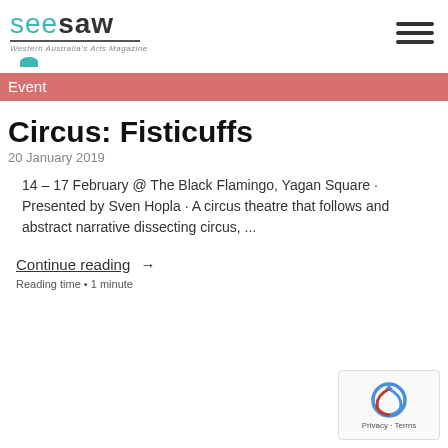seesaw — Western Australia's Arts Magazine
Event
Circus: Fisticuffs
20 January 2019
14 – 17 February @ The Black Flamingo, Yagan Square · Presented by Sven Hopla · A circus theatre that follows and abstract narrative dissecting circus, ...
Continue reading →
Reading time • 1 minute